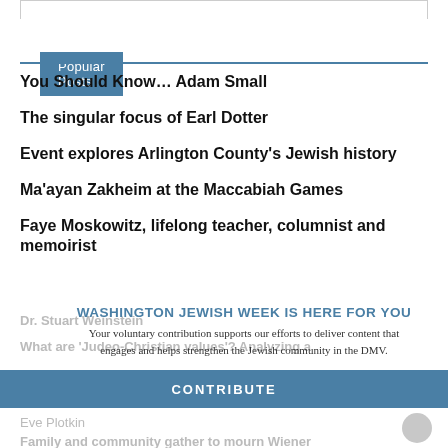Popular Posts
You Should Know… Adam Small
The singular focus of Earl Dotter
Event explores Arlington County's Jewish history
Ma'ayan Zakheim at the Maccabiah Games
Faye Moskowitz, lifelong teacher, columnist and memoirist
WASHINGTON JEWISH WEEK IS HERE FOR YOU
Your voluntary contribution supports our efforts to deliver content that engages and helps strengthen the Jewish community in the DMV.
CONTRIBUTE
Dr. Stuart Weinstein
What are 'Judeo-Christian values'? Analyzing a
Eve Plotkin
Family and community gather to mourn Wiener